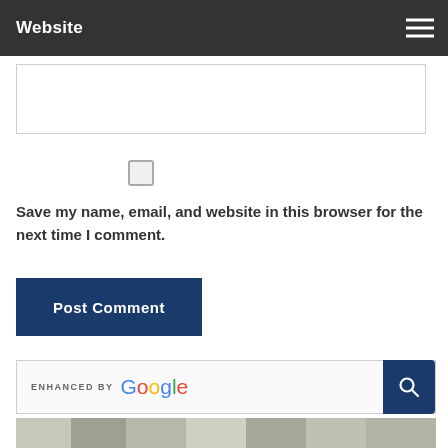Website
[Figure (screenshot): Website URL input text field, empty]
[Figure (screenshot): Checkbox (unchecked) for saving name, email, and website]
Save my name, email, and website in this browser for the next time I comment.
[Figure (screenshot): Post Comment button, dark navy blue]
[Figure (screenshot): Enhanced by Google search bar with search button]
[Figure (photo): Partially visible photo at bottom, appears to be a textured wood or bark surface in grayscale]